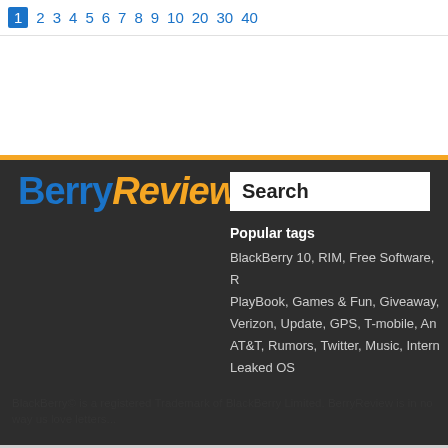1 2 3 4 5 6 7 8 9 10 20 30 40
[Figure (screenshot): BerryReview website footer/header section on dark background with orange top border. Shows BerryReview logo (Berry in blue, Review in orange italic), a Search box, Popular tags section listing BlackBerry 10, RIM, Free Software, PlayBook, Games & Fun, Giveaway, Verizon, Update, GPS, T-mobile, AT&T, Rumors, Twitter, Music, Internet, Leaked OS]
BlackBerry© is a registered Trademark of BlackBerry Limited. BerryReview is in no way affiliated with BlackBerry Limited though sometimes they send us love letters...